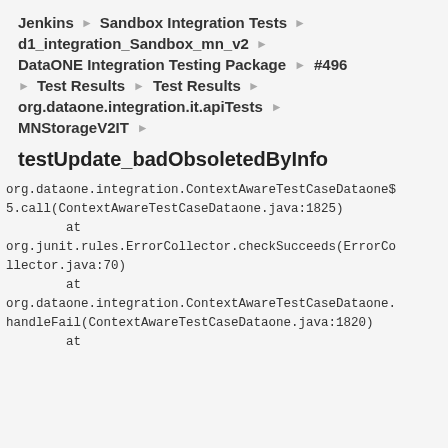Jenkins ▶ Sandbox Integration Tests ▶
d1_integration_Sandbox_mn_v2 ▶
DataONE Integration Testing Package ▶ #496
▶ Test Results ▶ Test Results ▶
org.dataone.integration.it.apiTests ▶
MNStorageV2IT ▶
testUpdate_badObsoletedByInfo
org.dataone.integration.ContextAwareTestCaseDataone$5.call(ContextAwareTestCaseDataone.java:1825)
        at
org.junit.rules.ErrorCollector.checkSucceeds(ErrorCollector.java:70)
        at
org.dataone.integration.ContextAwareTestCaseDataone.handleFail(ContextAwareTestCaseDataone.java:1820)
        at